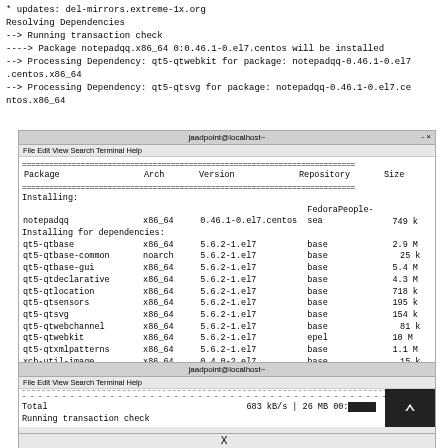* updates: del-mirrors.extreme-1x.org
Resolving Dependencies
--> Running transaction check
----> Package notepadqq.x86_64 0:0.46.1-0.el7.centos will be installed
--> Processing Dependency: qt5-qtwebkit for package: notepadqq-0.46.1-0.el7.centos.x86_64
--> Processing Dependency: qt5-qtsvg for package: notepadqq-0.46.1-0.el7.centos.x86_64
[Figure (screenshot): Terminal window showing package installation table with columns Package, Arch, Version, Repository, Size listing notepadqq and qt5 dependencies]
[Figure (screenshot): Terminal window showing download progress: Total 683 kB/s | 26 MB 00:... and Running transaction check]